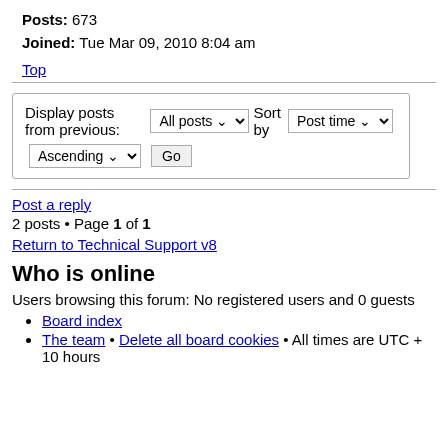Posts: 673
Joined: Tue Mar 09, 2010 8:04 am
Top
Display posts from previous: All posts  Sort by Post time  Ascending  Go
Post a reply
2 posts • Page 1 of 1
Return to Technical Support v8
Who is online
Users browsing this forum: No registered users and 0 guests
Board index
The team • Delete all board cookies • All times are UTC + 10 hours